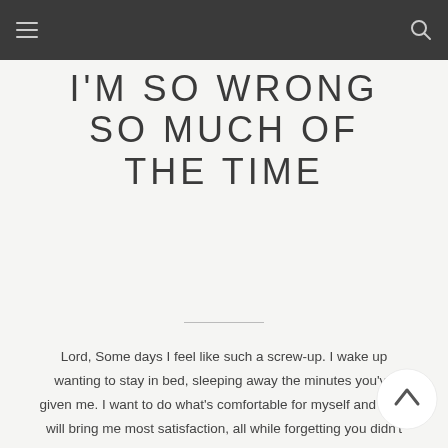I'M SO WRONG SO MUCH OF THE TIME
Lord, Some days I feel like such a screw-up. I wake up wanting to stay in bed, sleeping away the minutes you've given me. I want to do what's comfortable for myself and what will bring me most satisfaction, all while forgetting you didn't make me for me. You made me for you. So God, I need to confess. I confess that most days I think more about myself than I ever think about you. Even in the work that you have given me, I look for ways to take myself higher. In the relationships you've gifted me